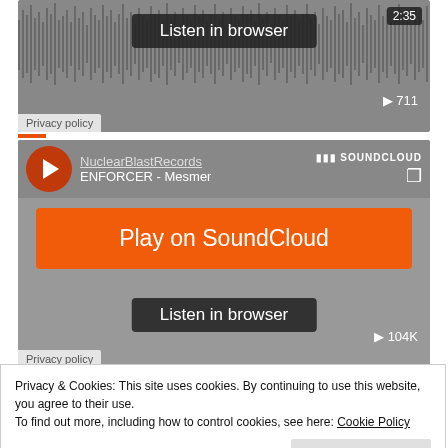[Figure (screenshot): SoundCloud embedded player widget showing waveform with 'Listen in browser' button, timestamp 2:35, play count 711, and Privacy policy link]
[Figure (screenshot): SoundCloud embedded player for NuclearBlastRecords - ENFORCER - Mesmer, with 'Play on SoundCloud' orange button, 'Listen in browser' dark button, play count 104K, and Privacy policy link]
[Figure (screenshot): Partial SoundCloud embedded player showing 'Play on SoundCloud' orange button]
Privacy & Cookies: This site uses cookies. By continuing to use this website, you agree to their use. To find out more, including how to control cookies, see here: Cookie Policy
Close and accept
Share this...